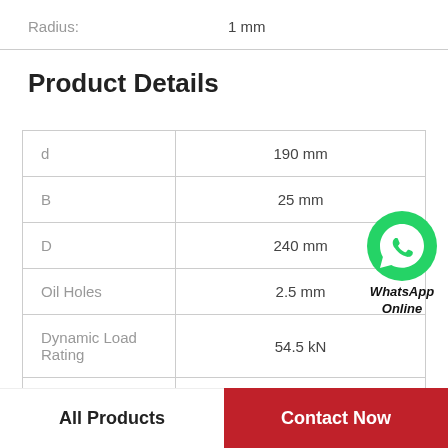Radius: 1 mm
Product Details
| d | 190 mm |
| B | 25 mm |
| D | 240 mm |
| Oil Holes | 2.5 mm |
| Dynamic Load Rating | 54.5 kN |
| da | 203 mm |
[Figure (logo): WhatsApp Online badge with green WhatsApp icon and text 'WhatsApp Online']
All Products
Contact Now